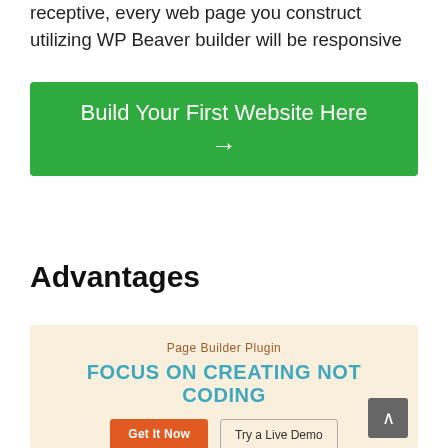receptive, every web page you construct utilizing WP Beaver builder will be responsive
[Figure (other): Green call-to-action button with white text 'Build Your First Website Here →']
Advantages
[Figure (infographic): Promotional banner with cream background. Text: 'Page Builder Plugin' above large teal heading 'FOCUS ON CREATING NOT CODING'. Two buttons: orange 'Get It Now' and outlined 'Try a Live Demo'.]